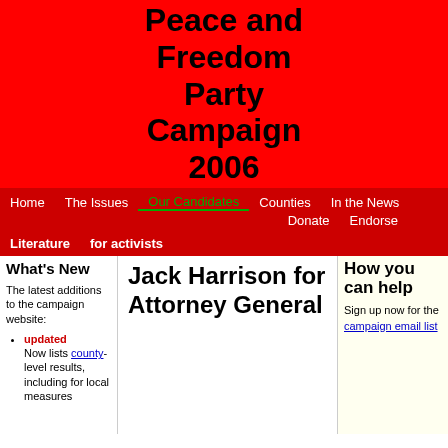Peace and Freedom Party Campaign 2006
Home | The Issues | Our Candidates | Counties | In the News | Donate | Endorse | Literature | for activists
What's New
The latest additions to the campaign website:
updated Now lists county-level results, including for local measures
Jack Harrison for Attorney General
How you can help
Sign up now for the campaign email list